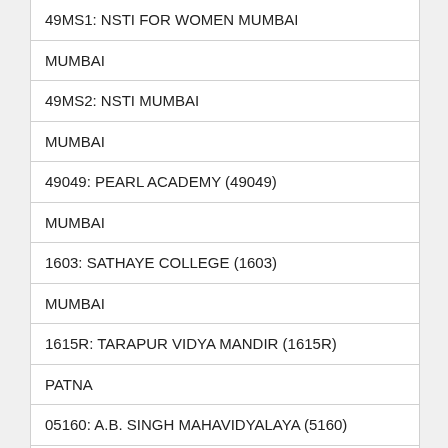| 49MS1: NSTI FOR WOMEN MUMBAI |
| MUMBAI |
| 49MS2: NSTI MUMBAI |
| MUMBAI |
| 49049: PEARL ACADEMY (49049) |
| MUMBAI |
| 1603: SATHAYE COLLEGE (1603) |
| MUMBAI |
| 1615R: TARAPUR VIDYA MANDIR (1615R) |
| PATNA |
| 05160: A.B. SINGH MAHAVIDYALAYA (5160) |